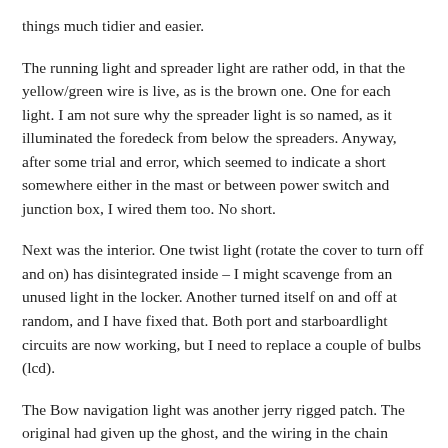things much tidier and easier.
The running light and spreader light are rather odd, in that the yellow/green wire is live, as is the brown one. One for each light. I am not sure why the spreader light is so named, as it illuminated the foredeck from below the spreaders. Anyway, after some trial and error, which seemed to indicate a short somewhere either in the mast or between power switch and junction box, I wired them too. No short.
Next was the interior. One twist light (rotate the cover to turn off and on) has disintegrated inside – I might scavenge from an unused light in the locker. Another turned itself on and off at random, and I have fixed that. Both port and starboardlight circuits are now working, but I need to replace a couple of bulbs (lcd).
The Bow navigation light was another jerry rigged patch. The original had given up the ghost, and the wiring in the chain locker was rotten. So, back in Gosport in 2014 I installed a new light. The original wire is hard mounted into the fiberglass and is routed between the inner and outer hulls, so totally